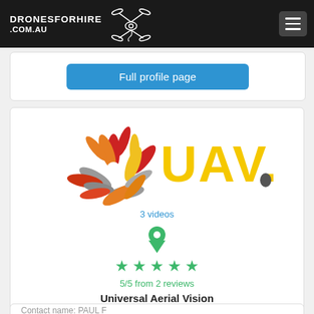DRONESFORHIRE.COM.AU
Full profile page
[Figure (logo): UAV logo with starburst/pinwheel design in red, grey, orange, and yellow colors alongside large yellow bold text 'UAV.']
3 videos
[Figure (infographic): Green location pin icon above five green star rating icons]
5/5 from 2 reviews
Universal Aerial Vision
Contact name: PAUL F